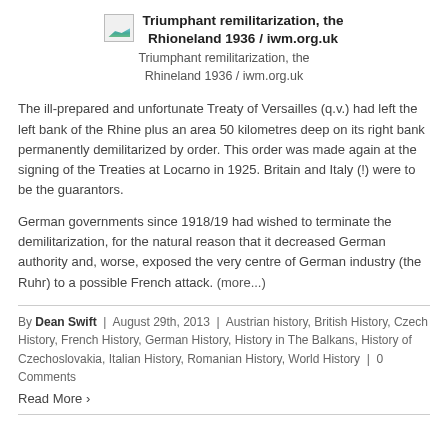[Figure (photo): Thumbnail image placeholder with title: Triumphant remilitarization, the Rhioneland 1936 / iwm.org.uk]
Triumphant remilitarization, the Rhineland 1936 / iwm.org.uk
The ill-prepared and unfortunate Treaty of Versailles (q.v.) had left the left bank of the Rhine plus an area 50 kilometres deep on its right bank permanently demilitarized by order. This order was made again at the signing of the Treaties at Locarno in 1925. Britain and Italy (!) were to be the guarantors.
German governments since 1918/19 had wished to terminate the demilitarization, for the natural reason that it decreased German authority and, worse, exposed the very centre of German industry (the Ruhr) to a possible French attack. (more...)
By Dean Swift | August 29th, 2013 | Austrian history, British History, Czech History, French History, German History, History in The Balkans, History of Czechoslovakia, Italian History, Romanian History, World History | 0 Comments
Read More >